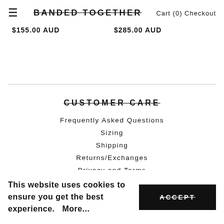≡  BANDED TOGETHER  Cart (0) Checkout
$155.00 AUD   $285.00 AUD
CUSTOMER CARE
Frequently Asked Questions
Sizing
Shipping
Returns/Exchanges
Privacy and Terms
This website uses cookies to ensure you get the best experience.   More...
ACCEPT